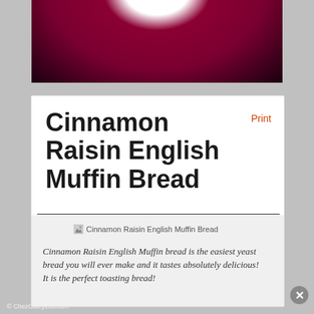[Figure (photo): Close-up photo of a dark red/maroon bowl or plate with white center visible, watermarked with ChezCateyLou.com]
© ChezCateyLou.com
Cinnamon Raisin English Muffin Bread
Print
[Figure (photo): Thumbnail image of Cinnamon Raisin English Muffin Bread]
Cinnamon Raisin English Muffin bread is the easiest yeast bread you will ever make and it tastes absolutely delicious! It is the perfect toasting bread!